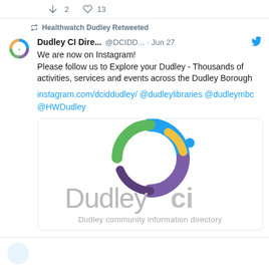2  13
Healthwatch Dudley Retweeted
Dudley CI Dire...  @DCIDD...  · Jun 27
We are now on Instagram!
Please follow us to Explore your Dudley - Thousands of activities, services and events across the Dudley Borough
instagram.com/dciddudley/ @dudleylibraries @dudleymbc @HWDudley
[Figure (logo): Dudleyci logo with colorful circular arc graphic and text 'Dudleyci' and tagline 'Dudley community information directory']